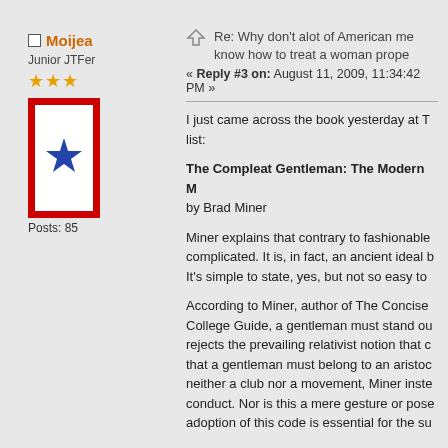Moijea
Junior JTFer
Posts: 85
Re: Why don't alot of American me know how to treat a woman prope
« Reply #3 on: August 11, 2009, 11:34:42 PM »
I just came across the book yesterday at T list:
The Compleat Gentleman: The Modern M by Brad Miner
Miner explains that contrary to fashionable complicated. It is, in fact, an ancient ideal b It's simple to state, yes, but not so easy to
According to Miner, author of The Concise College Guide, a gentleman must stand ou rejects the prevailing relativist notion that c that a gentleman must belong to an aristoc neither a club nor a movement, Miner inste conduct. Nor is this a mere gesture or pose adoption of this code is essential for the su
With an engaging lightness of touch combi unpopular truths, Miner traces the concept